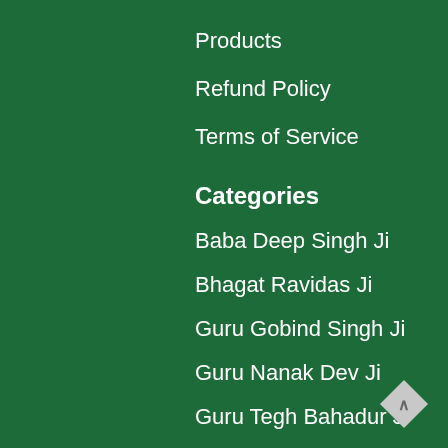Products
Refund Policy
Terms of Service
Categories
Baba Deep Singh Ji
Bhagat Ravidas Ji
Guru Gobind Singh Ji
Guru Nanak Dev Ji
Guru Tegh Bahadur Ji
Harmandir Sahib
Punjabi Pictures
Sant Jarnail Singh Bhindranwale